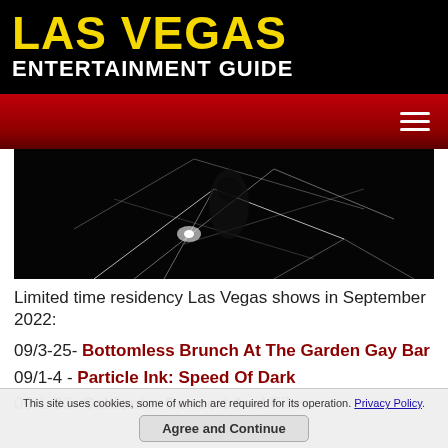LAS VEGAS ENTERTAINMENT GUIDE
[Figure (photo): Dark performance photo with white light trails and abstract geometric patterns against a black background]
Limited time residency Las Vegas shows in September 2022:
09/3-25- Bottomless Brunch At The Garden Gay Bar
09/1-4 - Particle Ink: Speed Of Dark
09/1-30- Caldonia: Concert And Film
This site uses cookies, some of which are required for its operation. Privacy Policy.
Agree and Continue